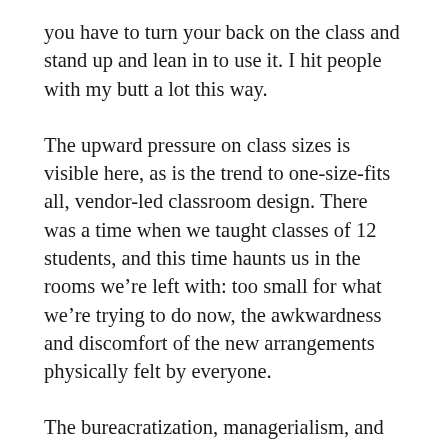you have to turn your back on the class and stand up and lean in to use it. I hit people with my butt a lot this way.
The upward pressure on class sizes is visible here, as is the trend to one-size-fits all, vendor-led classroom design. There was a time when we taught classes of 12 students, and this time haunts us in the rooms we’re left with: too small for what we’re trying to do now, the awkwardness and discomfort of the new arrangements physically felt by everyone.
The bureacratization, managerialism, and business-ing of higher education is manifest in classroom redesigns that very, very clearly took no input at all from either students or teachers: I